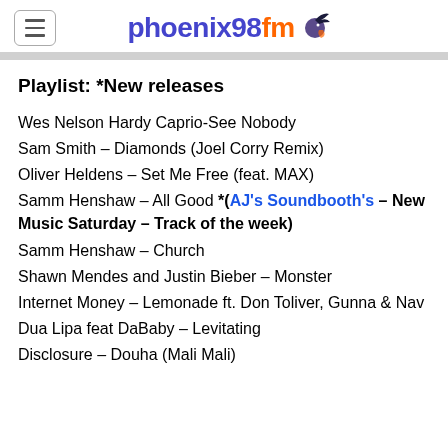phoenix98fm
Playlist: *New releases
Wes Nelson Hardy Caprio-See Nobody
Sam Smith – Diamonds (Joel Corry Remix)
Oliver Heldens – Set Me Free (feat. MAX)
Samm Henshaw – All Good *(AJ's Soundbooth's – New Music Saturday – Track of the week)
Samm Henshaw – Church
Shawn Mendes and Justin Bieber – Monster
Internet Money – Lemonade ft. Don Toliver, Gunna & Nav
Dua Lipa feat DaBaby – Levitating
Disclosure – Douha (Mali Mali)